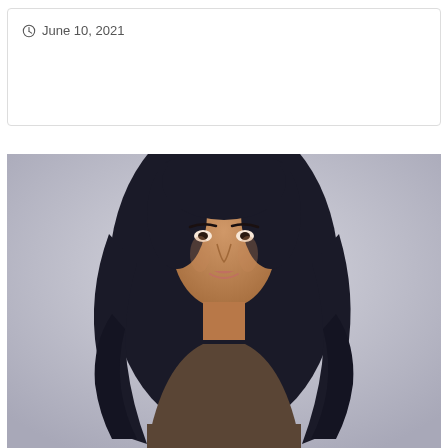June 10, 2021
[Figure (photo): Portrait photo of a woman with long dark wavy hair wearing a dark brown top, against a light gray background]